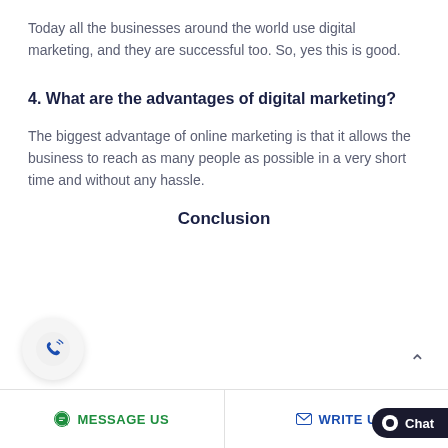Today all the businesses around the world use digital marketing, and they are successful too. So, yes this is good.
4. What are the advantages of digital marketing?
The biggest advantage of online marketing is that it allows the business to reach as many people as possible in a very short time and without any hassle.
Conclusion
MESSAGE US   WRITE US   Chat